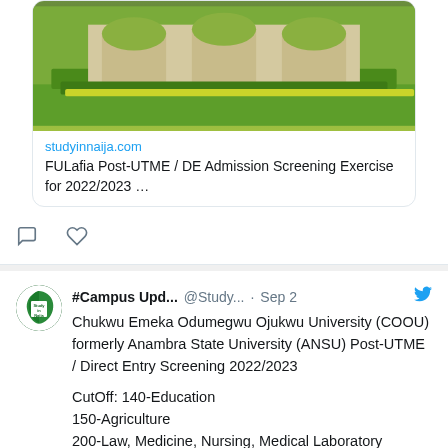[Figure (photo): University building exterior with green landscaping and hedge-topped arched structures]
studyinnaija.com
FULafia Post-UTME / DE Admission Screening Exercise for 2022/2023 …
Comment and like action icons
[Figure (logo): Study in Naija circular logo with Nigerian map outline, green and white colors]
#Campus Upd... @Study... · Sep 2
Chukwu Emeka Odumegwu Ojukwu University (COOU) formerly Anambra State University (ANSU) Post-UTME / Direct Entry Screening 2022/2023

CutOff: 140-Education
150-Agriculture
200-Law, Medicine, Nursing, Medical Laboratory Technology, Pharmaceutical Sciences